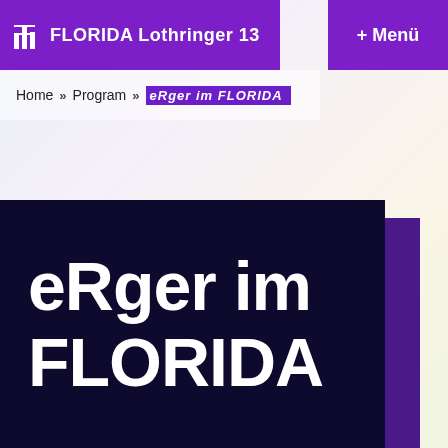FLORIDA Lothringer 13
+ Menü
Home » Program » eRger im FLORIDA
eRger im FLORIDA